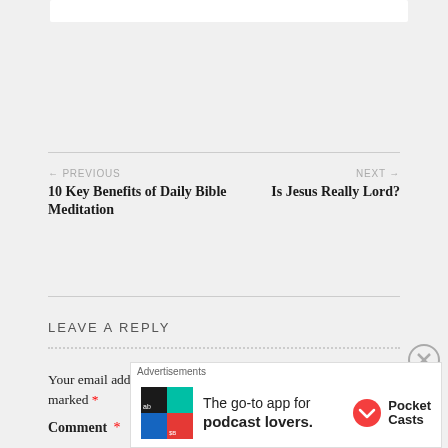← PREVIOUS
10 Key Benefits of Daily Bible Meditation
NEXT →
Is Jesus Really Lord?
LEAVE A REPLY
Your email address will not be published. Required fields are marked *
Comment *
[Figure (screenshot): Advertisement banner for Pocket Casts app: 'The go-to app for podcast lovers.' with Pocket Casts logo]